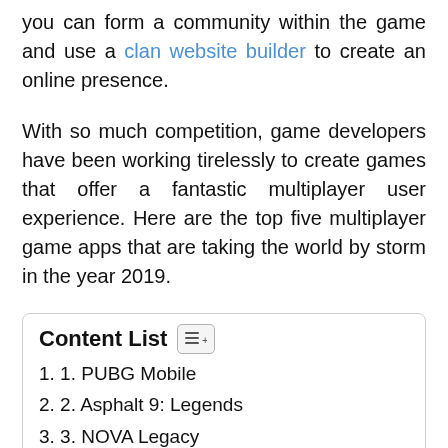you can form a community within the game and use a clan website builder to create an online presence.
With so much competition, game developers have been working tirelessly to create games that offer a fantastic multiplayer user experience. Here are the top five multiplayer game apps that are taking the world by storm in the year 2019.
Content List
1. 1. PUBG Mobile
2. 2. Asphalt 9: Legends
3. 3. NOVA Legacy
4. 4. 8 Ball Pool
5. 5. Crossy Road
5.1. 6. Geometry Dash